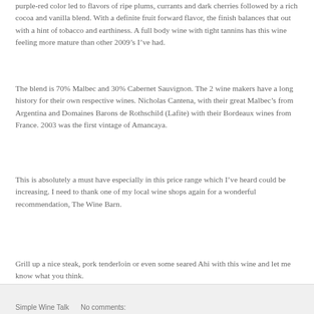purple-red color led to flavors of ripe plums, currants and dark cherries followed by a rich cocoa and vanilla blend.  With a definite fruit forward flavor, the finish balances that out with a hint of tobacco and earthiness.  A full body wine with tight tannins has this wine feeling more mature than other 2009’s I’ve had.
The blend is 70% Malbec and 30% Cabernet Sauvignon.  The 2 wine makers have a long history for their own respective wines.  Nicholas Cantena, with their great Malbec’s from Argentina and Domaines Barons de Rothschild (Lafite) with their Bordeaux wines from France.  2003 was the first vintage of Amancaya.
This is absolutely a must have especially in this price range which I’ve heard could be increasing.  I need to thank one of my local wine shops again for a wonderful recommendation, The Wine Barn.
Grill up a nice steak, pork tenderloin or even some seared Ahi with this wine and let me know what you think.
Simple Wine Talk     No comments: